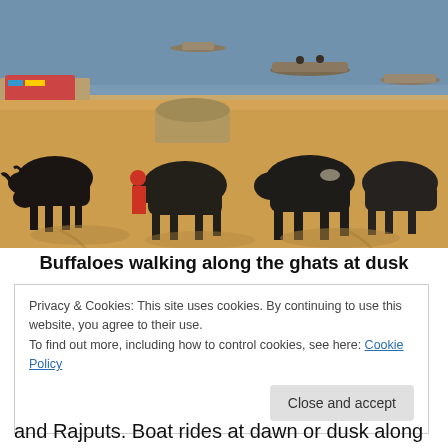[Figure (photo): Buffaloes walking along sandy ghats beside a wide river at dusk, with boats on the water in the background and people visible near the shore.]
Buffaloes walking along the ghats at dusk
Privacy & Cookies: This site uses cookies. By continuing to use this website, you agree to their use.
To find out more, including how to control cookies, see here: Cookie Policy
and Rajputs. Boat rides at dawn or dusk along the river